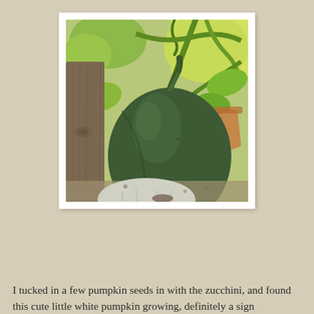[Figure (photo): A dark green acorn squash or small pumpkin growing in a garden, resting against a wooden post. Green vines and leaves are visible in the background, along with a terracotta pot. Another pale/white round object is visible at the bottom.]
I tucked in a few pumpkin seeds in with the zucchini, and found this cute little white pumpkin growing, definitely a sign